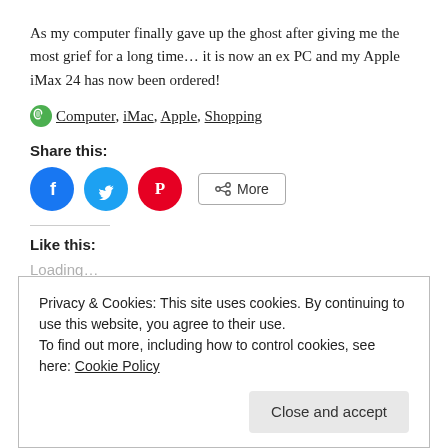As my computer finally gave up the ghost after giving me the most grief for a long time… it is now an ex PC and my Apple iMax 24 has now been ordered!
🌿 Computer, iMac, Apple, Shopping
Share this:
[Figure (infographic): Three social share buttons: Facebook (blue circle), Twitter (light blue circle), Pinterest (red circle), and a 'More' button with share icon]
Like this:
Loading...
Privacy & Cookies: This site uses cookies. By continuing to use this website, you agree to their use.
To find out more, including how to control cookies, see here: Cookie Policy